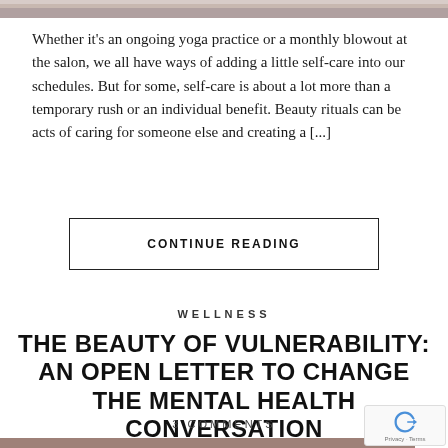[Figure (photo): Partial top of a photograph showing people, cropped at top of page]
Whether it's an ongoing yoga practice or a monthly blowout at the salon, we all have ways of adding a little self-care into our schedules. But for some, self-care is about a lot more than a temporary rush or an individual benefit. Beauty rituals can be acts of caring for someone else and creating a [...]
CONTINUE READING
WELLNESS
THE BEAUTY OF VULNERABILITY: AN OPEN LETTER TO CHANGE THE MENTAL HEALTH CONVERSATION
3 COMMENTS
[Figure (photo): Bottom portion of a photo with muted brownish-rose color, partially visible at bottom of page]